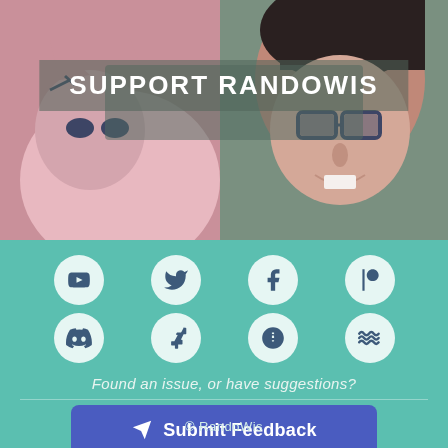[Figure (illustration): Comic-style banner illustration showing a stylized cat character on the left and a person with glasses on the right, with overlaid semi-transparent box containing the text SUPPORT RANDOWIS]
SUPPORT RANDOWIS
[Figure (infographic): 8 social media icon circles in 2 rows of 4: YouTube, Twitter, Facebook, Patreon (top row); Discord, DeviantArt, Gumroad, and a wavy lines icon (bottom row)]
Found an issue, or have suggestions?
Submit Feedback
© RandoWis